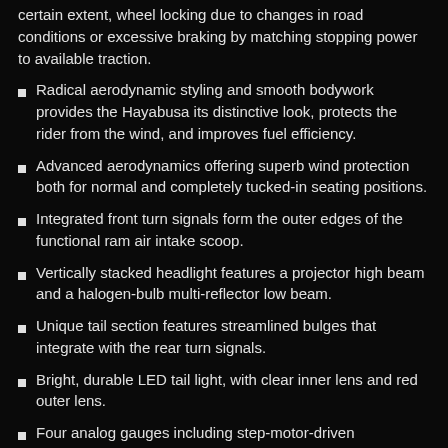certain extent, wheel locking due to changes in road conditions or excessive braking by matching stopping power to available traction.
Radical aerodynamic styling and smooth bodywork provides the Hayabusa its distinctive look, protects the rider from the wind, and improves fuel efficiency.
Advanced aerodynamics offering superb wind protection both for normal and completely tucked-in seating positions.
Integrated front turn signals form the outer edges of the functional ram air intake scoop.
Vertically stacked headlight features a projector high beam and a halogen-bulb multi-reflector low beam.
Unique tail section features streamlined bulges that integrate with the rear turn signals.
Bright, durable LED tail light, with clear inner lens and red outer lens.
Four analog gauges including step-motor-driven tachometer and speedometer. Round LCD panel includes